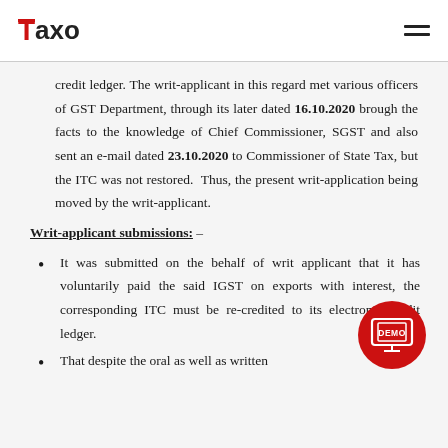Taxo
credit ledger. The writ-applicant in this regard met various officers of GST Department, through its later dated 16.10.2020 brough the facts to the knowledge of Chief Commissioner, SGST and also sent an e-mail dated 23.10.2020 to Commissioner of State Tax, but the ITC was not restored. Thus, the present writ-application being moved by the writ-applicant.
Writ-applicant submissions: –
It was submitted on the behalf of writ applicant that it has voluntarily paid the said IGST on exports with interest, the corresponding ITC must be re-credited to its electronic credit ledger.
That despite the oral as well as written